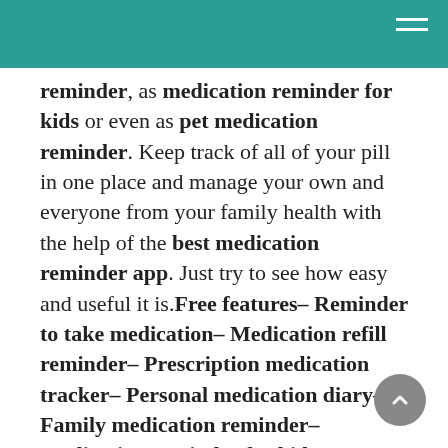reminder, as medication reminder for kids or even as pet medication reminder. Keep track of all of your pill in one place and manage your own and everyone from your family health with the help of the best medication reminder app. Just try to see how easy and useful it is.Free features– Reminder to take medication– Medication refill reminder– Prescription medication tracker– Personal medication diary– Family medication reminder– Medication reminder for kids– Pet medication reminder– Different color schemesSurprise! Just now as